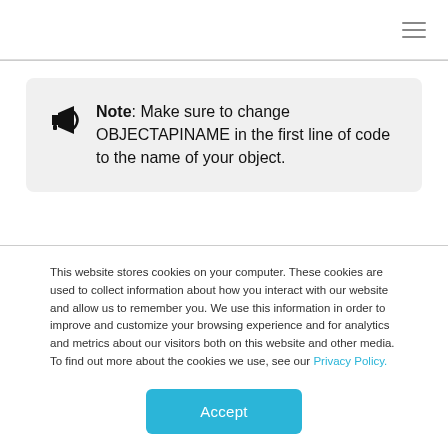≡ (hamburger menu icon)
Note: Make sure to change OBJECTAPINAME in the first line of code to the name of your object.
This website stores cookies on your computer. These cookies are used to collect information about how you interact with our website and allow us to remember you. We use this information in order to improve and customize your browsing experience and for analytics and metrics about our visitors both on this website and other media. To find out more about the cookies we use, see our Privacy Policy.